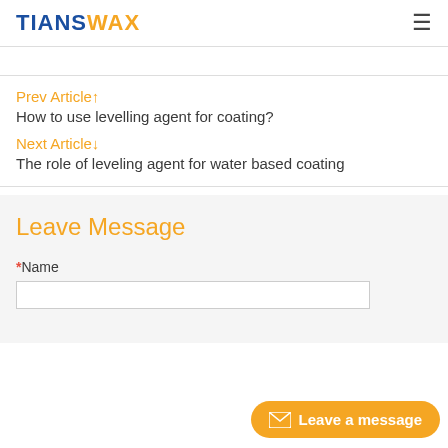TIANSWAX
Prev Article↑
How to use levelling agent for coating?
Next Article↓
The role of leveling agent for water based coating
Leave Message
*Name
Leave a message